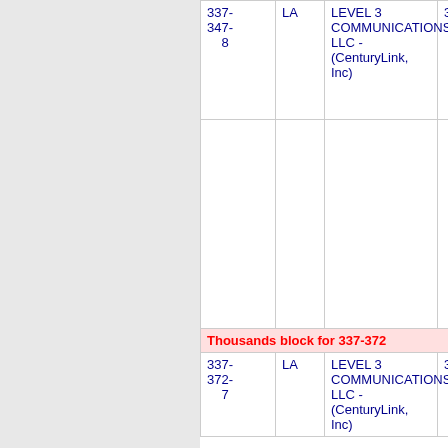| Number | State | Name | Code |
| --- | --- | --- | --- |
| 337-347-8 | LA | LEVEL 3 COMMUNICATIONS, LLC - (CenturyLink, Inc) | 3232 |
| Thousands block for 337-372 |  |  |  |
| 337-372-7 | LA | LEVEL 3 COMMUNICATIONS, LLC - (CenturyLink, Inc) | 3232 |